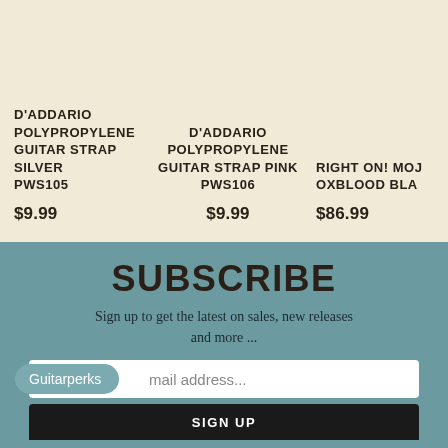D'ADDARIO POLYPROPYLENE GUITAR STRAP SILVER PWS105
$9.99
D'ADDARIO POLYPROPYLENE GUITAR STRAP PINK PWS106
$9.99
RIGHT ON! MOJ OXBLOOD BLA...
$86.99
SUBSCRIBE
Sign up to get the latest on sales, new releases and more ...
mail address...
Guitarperks
SIGN UP